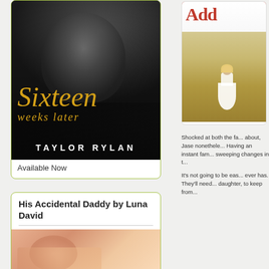[Figure (photo): Book cover for 'Sixteen Weeks Later' by Taylor Rylan — dark black and white photo of a shirtless man reclining, with golden script title text]
Available Now
His Accidental Daddy by Luna David
[Figure (photo): Close-up photo of a person's face/ear area with warm peachy skin tones — book cover for His Accidental Daddy]
[Figure (photo): Partial book cover on right side showing red 'Add' text at top and a girl in a white dress in a field]
Shocked at both the fact that he never knew about, Jase nonetheless... Having an instant family means he'll need to make sweeping changes in his life.
It's not going to be easy — it never has. They'll need to keep from daughter, to keep from...